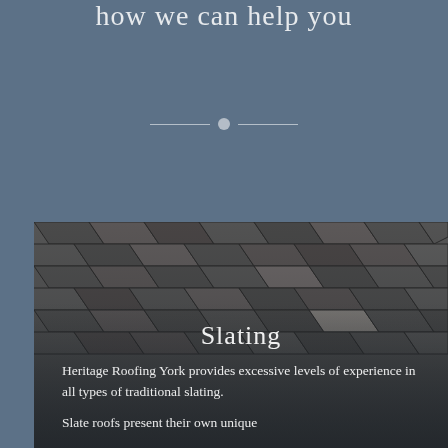how we can help you
[Figure (photo): Close-up photograph of a traditional slate roof with overlapping grey slate tiles arranged in a diagonal pattern]
Slating
Heritage Roofing York provides excessive levels of experience in all types of traditional slating.
Slate roofs present their own unique